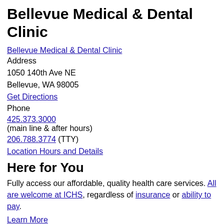Bellevue Medical & Dental Clinic
Bellevue Medical & Dental Clinic
Address
1050 140th Ave NE
Bellevue, WA 98005
Get Directions
Phone
425.373.3000
(main line & after hours)
206.788.3774 (TTY)
Location Hours and Details
Here for You
Fully access our affordable, quality health care services. All are welcome at ICHS, regardless of insurance or ability to pay.
Learn More
[Figure (photo): cta_loc_ser_DSC_0197 - small thumbnail image]